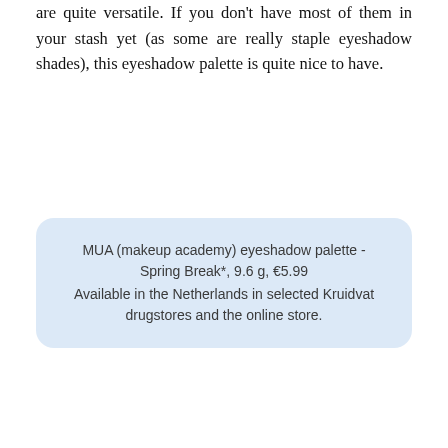are quite versatile. If you don't have most of them in your stash yet (as some are really staple eyeshadow shades), this eyeshadow palette is quite nice to have.
MUA (makeup academy) eyeshadow palette - Spring Break*, 9.6 g, €5.99
Available in the Netherlands in selected Kruidvat drugstores and the online store.